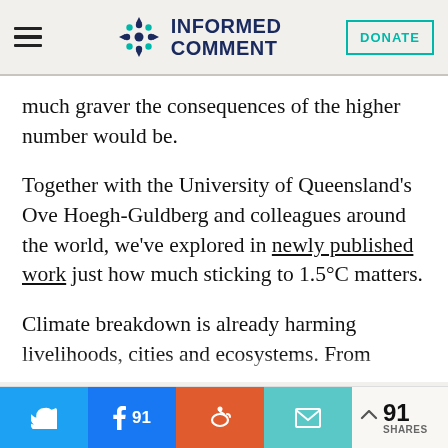INFORMED COMMENT
much graver the consequences of the higher number would be.
Together with the University of Queensland's Ove Hoegh-Guldberg and colleagues around the world, we've explored in newly published work just how much sticking to 1.5°C matters.
Climate breakdown is already harming livelihoods, cities and ecosystems. From
91 SHARES